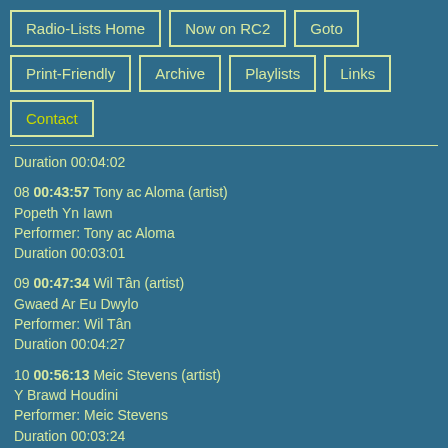Radio-Lists Home
Now on RC2
Goto
Print-Friendly
Archive
Playlists
Links
Contact
Duration 00:04:02
08 00:43:57 Tony ac Aloma (artist)
Popeth Yn Iawn
Performer: Tony ac Aloma
Duration 00:03:01
09 00:47:34 Wil Tân (artist)
Gwaed Ar Eu Dwylo
Performer: Wil Tân
Duration 00:04:27
10 00:56:13 Meic Stevens (artist)
Y Brawd Houdini
Performer: Meic Stevens
Duration 00:03:24